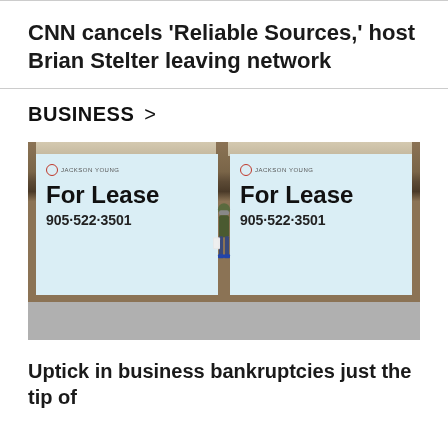CNN cancels 'Reliable Sources,' host Brian Stelter leaving network
BUSINESS >
[Figure (photo): A person wearing a mask and carrying shopping bags walks past two storefront windows with 'For Lease' signs showing the number 905-522-3501, with the Jackson Young real estate logo visible on each sign.]
Uptick in business bankruptcies just the tip of